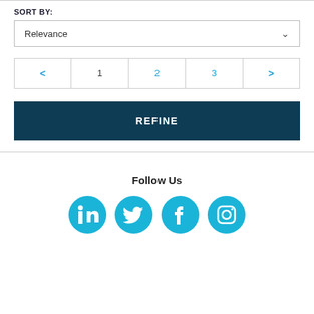SORT BY:
Relevance
< 1 2 3 >
REFINE
Follow Us
[Figure (other): Social media icons: LinkedIn, Twitter, Facebook, Instagram]